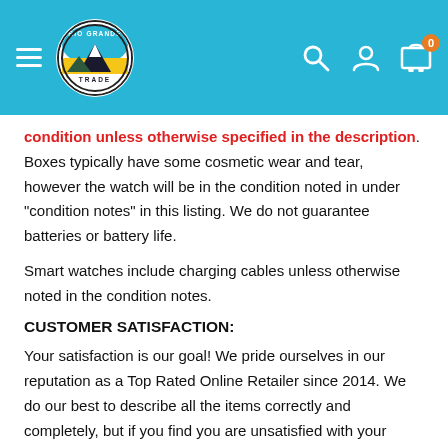Rio Grande Trade — navigation header with logo, search, account, and cart icons
condition unless otherwise specified in the description. Boxes typically have some cosmetic wear and tear, however the watch will be in the condition noted in under “condition notes” in this listing. We do not guarantee batteries or battery life.

Smart watches include charging cables unless otherwise noted in the condition notes.
CUSTOMER SATISFACTION:
Your satisfaction is our goal! We pride ourselves in our reputation as a Top Rated Online Retailer since 2014. We do our best to describe all the items correctly and completely, but if you find you are unsatisfied with your purchase, please let us know. If you have a question or concern about your item, please contact us before leaving feedback, and we’ll do what